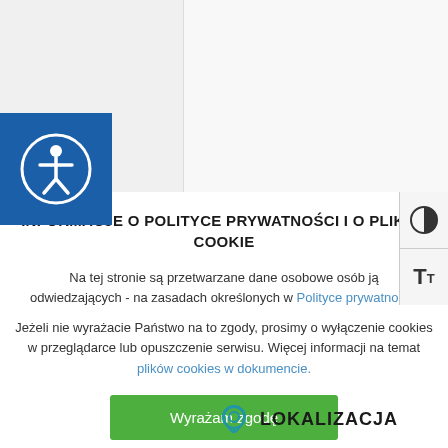[Figure (screenshot): Website background with white content column and gray areas, showing a location section header with a blue map pin icon and text LOKALIZACJA in bold]
[Figure (logo): Blue square accessibility icon with white person in circle symbol]
INFORMACJE O POLITYCE PRYWATNOŚCI I O PLIKAC COOKIE
Na tej stronie są przetwarzane dane osobowe osób ją odwiedzających - na zasadach określonych w Polityce prywatności.
Jeżeli nie wyrażacie Państwo na to zgody, prosimy o wyłączenie cookies w przeglądarce lub opuszczenie serwisu. Więcej informacji na temat plików cookies w dokumencie.
Wyrażam zgodę